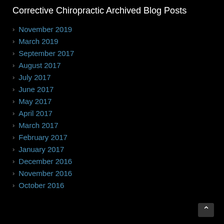Corrective Chiropractic Archived Blog Posts
November 2019
March 2019
September 2017
August 2017
July 2017
June 2017
May 2017
April 2017
March 2017
February 2017
January 2017
December 2016
November 2016
October 2016